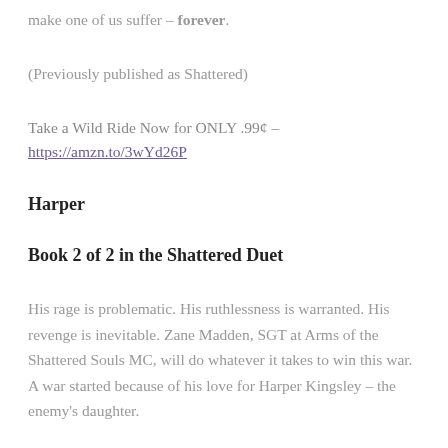make one of us suffer – forever.
(Previously published as Shattered)
Take a Wild Ride Now for ONLY .99¢ – https://amzn.to/3wYd26P
Harper
Book 2 of 2 in the Shattered Duet
His rage is problematic. His ruthlessness is warranted. His revenge is inevitable. Zane Madden, SGT at Arms of the Shattered Souls MC, will do whatever it takes to win this war. A war started because of his love for Harper Kingsley – the enemy's daughter.